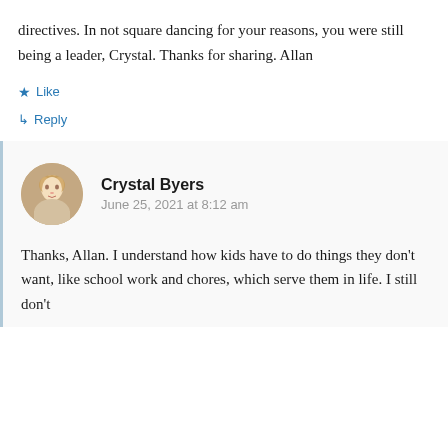directives. In not square dancing for your reasons, you were still being a leader, Crystal. Thanks for sharing. Allan
★ Like
↳ Reply
Crystal Byers
June 25, 2021 at 8:12 am
Thanks, Allan. I understand how kids have to do things they don't want, like school work and chores, which serve them in life. I still don't...